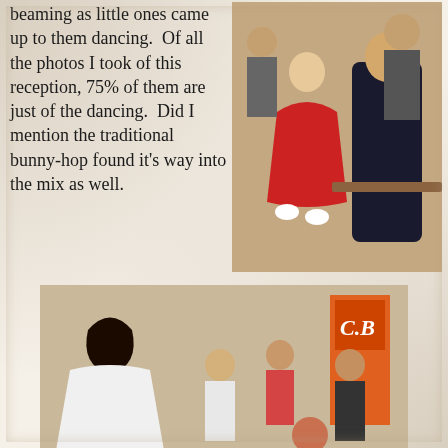beaming as little ones came up to them dancing.  Of all the photos I took of this reception, 75% of them are just of the dancing.  Did I mention the traditional bunny-hop found it's way into the mix as well.
[Figure (photo): A young girl in a red dress dancing and gesturing toward an elderly man seated in a chair at a reception event]
[Figure (photo): A bride in a white dress sitting on the floor surrounded by several children and young girls at a wedding reception]